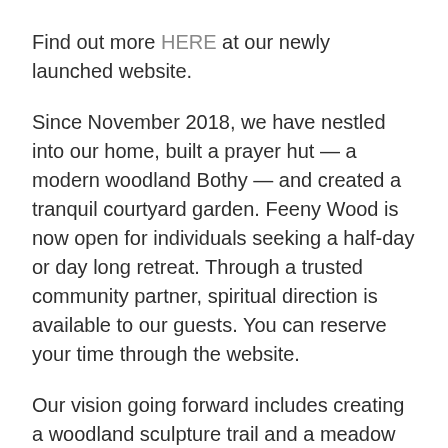Find out more HERE at our newly launched website.
Since November 2018, we have nestled into our home, built a prayer hut — a modern woodland Bothy — and created a tranquil courtyard garden. Feeny Wood is now open for individuals seeking a half-day or day long retreat. Through a trusted community partner, spiritual direction is available to our guests. You can reserve your time through the website.
Our vision going forward includes creating a woodland sculpture trail and a meadow labyrinth, holding small gatherings focused on living an artful faith-centred life, and publishing a blog series of spiritual meditations. God continues to lead us in the way.